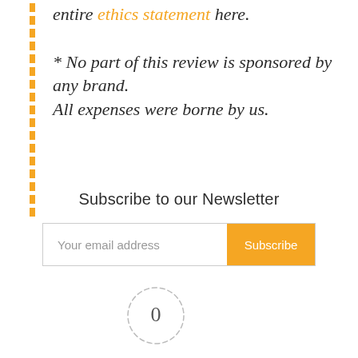entire ethics statement here.
* No part of this review is sponsored by any brand. All expenses were borne by us.
Subscribe to our Newsletter
[Figure (infographic): Email subscription form with text input 'Your email address' and a yellow 'Subscribe' button]
[Figure (infographic): User Rating widget showing a dashed circle with '0' in the center, dashes on left and right, and 'User Rating' label below]